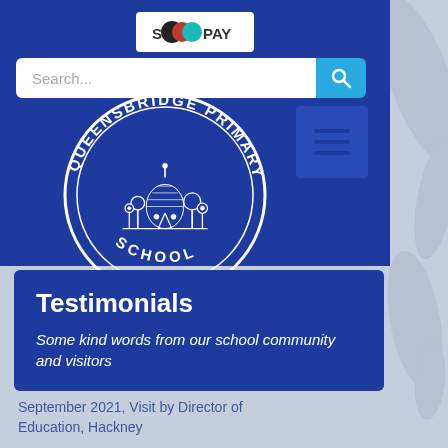[Figure (logo): SEOPAY logo with colored circles]
[Figure (screenshot): Search bar with blue search button]
[Figure (logo): Queensbridge Primary School circular crest with building and trees illustration]
Testimonials
Some kind words from our school community and visitors
September 2021,  Visit by Director of Education, Hackney